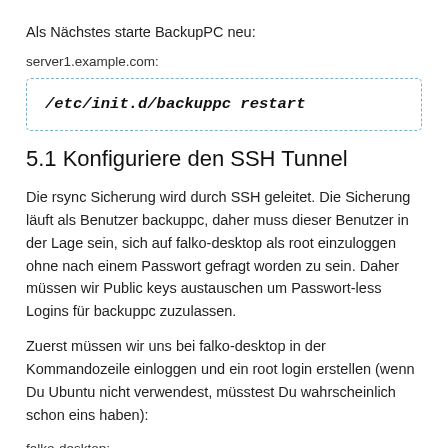Als Nächstes starte BackupPC neu:
server1.example.com:
/etc/init.d/backuppc restart
5.1 Konfiguriere den SSH Tunnel
Die rsync Sicherung wird durch SSH geleitet. Die Sicherung läuft als Benutzer backuppc, daher muss dieser Benutzer in der Lage sein, sich auf falko-desktop als root einzuloggen ohne nach einem Passwort gefragt worden zu sein. Daher müssen wir Public keys austauschen um Passwort-less Logins für backuppc zuzulassen.
Zuerst müssen wir uns bei falko-desktop in der Kommandozeile einloggen und ein root login erstellen (wenn Du Ubuntu nicht verwendest, müsstest Du wahrscheinlich schon eins haben):
falko-desktop: